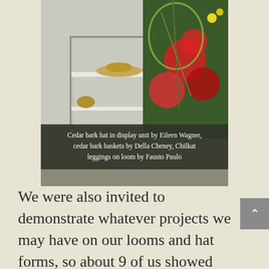[Figure (photo): Photo of a display unit showing woven cedar bark hats on a white table with shelving unit, and colorful red and green foliage/weaving in the foreground]
Cedar bark hat in display unit by Eileen Wagner, cedar bark baskets by Della Cheney, Chilkat leggings on loom by Fausto Paulo
We were also invited to demonstrate whatever projects we may have on our looms and hat forms, so about 9 of us showed up, set up tables down the middle of the exhibit room and demonstrated the weaving of cedar bark hatbands, baskets and hats